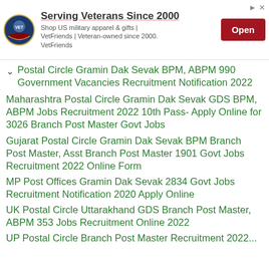[Figure (infographic): Advertisement banner: VetFriends logo on left, headline 'Serving Veterans Since 2000', subtext 'Shop US military apparel & gifts | VetFriends | Veteran-owned since 2000. VetFriends', red 'Open' button on right, ad icons top-right.]
Postal Circle Gramin Dak Sevak BPM, ABPM 990 Government Vacancies Recruitment Notification 2022
Maharashtra Postal Circle Gramin Dak Sevak GDS BPM, ABPM Jobs Recruitment 2022 10th Pass- Apply Online for 3026 Branch Post Master Govt Jobs
Gujarat Postal Circle Gramin Dak Sevak BPM Branch Post Master, Asst Branch Post Master 1901 Govt Jobs Recruitment 2022 Online Form
MP Post Offices Gramin Dak Sevak 2834 Govt Jobs Recruitment Notification 2020 Apply Online
UK Postal Circle Uttarakhand GDS Branch Post Master, ABPM 353 Jobs Recruitment Online 2022
UP Postal Circle Branch Post Master Recruitment 2022...